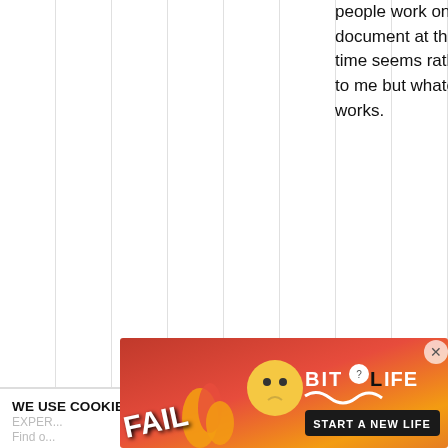people work on one document at the same time seems rather chaotic to me but whatever works.
3 years ago
♥ 0
sevenasids
WE USE COOKIES TO IMPROVE YOUR BROWSING EXPER...
[Figure (screenshot): Advertisement banner for BitLife game with 'FAIL' text and 'START A NEW LIFE' button on red/orange background, partially overlapping the cookie consent banner]